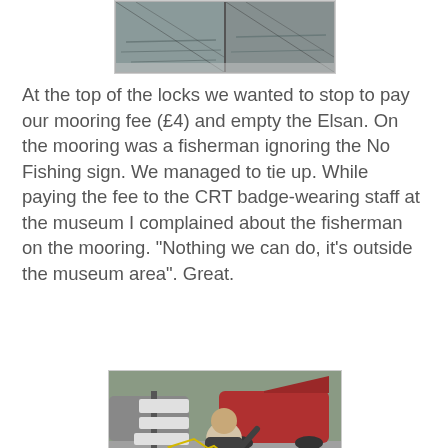[Figure (photo): Partial photograph at top of page showing water/canal scene with reflections, cropped at top]
At the top of the locks we wanted to stop to pay our mooring fee (£4) and empty the Elsan. On the mooring was a fisherman ignoring the No Fishing sign. We managed to tie up. While paying the fee to the CRT badge-wearing staff at the museum I complained about the fisherman on the mooring. "Nothing we can do, it's outside the museum area". Great.
[Figure (photo): Photograph of a man sitting on a folding chair in a car park area with fishing equipment. A red car with boot open is visible behind him, along with a directional signpost. The man appears to be gesturing.]